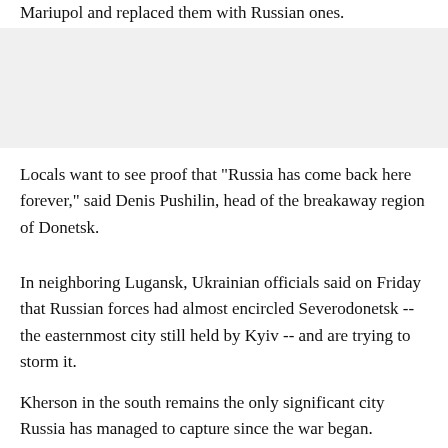Mariupol and replaced them with Russian ones.
[Figure (photo): Gray image placeholder block]
Locals want to see proof that "Russia has come back here forever," said Denis Pushilin, head of the breakaway region of Donetsk.
In neighboring Lugansk, Ukrainian officials said on Friday that Russian forces had almost encircled Severodonetsk -- the easternmost city still held by Kyiv -- and are trying to storm it.
Kherson in the south remains the only significant city Russia has managed to capture since the war began.